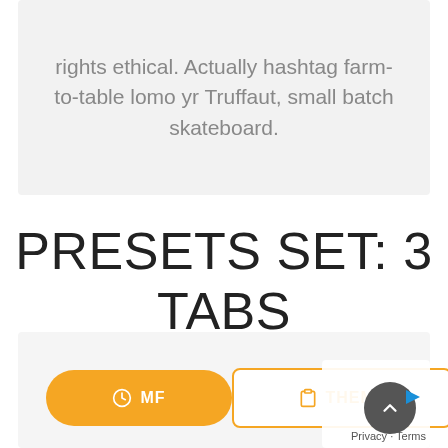rights ethical. Actually hashtag farm-to-table lomo yr Truffaut, small batch skateboard.
PRESETS SET: 3 TABS WITH ICONS
[Figure (screenshot): UI component showing two tab buttons at bottom: a filled amber/yellow rounded button labeled 'MF' with a clock icon, and an outlined amber button labeled 'THEME' with a clipboard icon. A dark circular scroll-to-top button is partially visible on the right.]